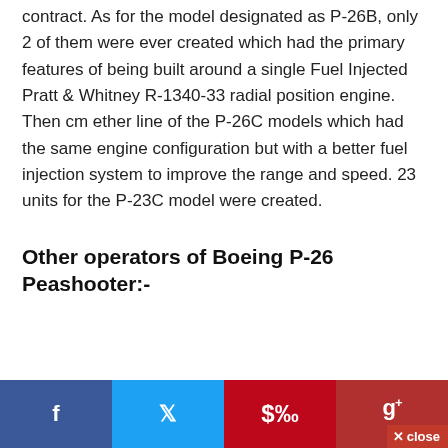contract. As for the model designated as P-26B, only 2 of them were ever created which had the primary features of being built around a single Fuel Injected Pratt & Whitney R-1340-33 radial position engine. Then cm ether line of the P-26C models which had the same engine configuration but with a better fuel injection system to improve the range and speed. 23 units for the P-23C model were created.
Other operators of Boeing P-26 Peashooter:-